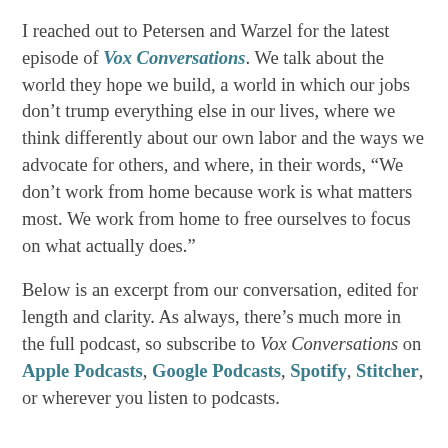I reached out to Petersen and Warzel for the latest episode of Vox Conversations. We talk about the world they hope we build, a world in which our jobs don't trump everything else in our lives, where we think differently about our own labor and the ways we advocate for others, and where, in their words, “We don’t work from home because work is what matters most. We work from home to free ourselves to focus on what actually does.”
Below is an excerpt from our conversation, edited for length and clarity. As always, there’s much more in the full podcast, so subscribe to Vox Conversations on Apple Podcasts, Google Podcasts, Spotify, Stitcher, or wherever you listen to podcasts.